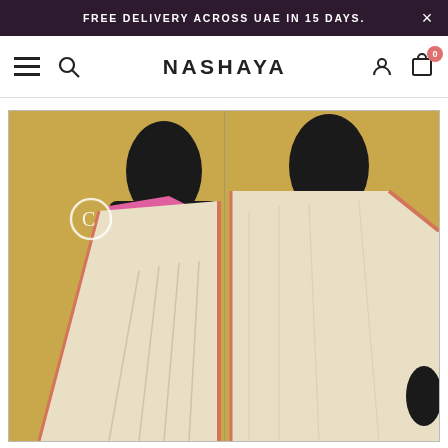FREE DELIVERY ACROSS UAE IN 15 DAYS.
NASHAYA
[Figure (photo): Two mannequins wearing a beige/cream saree with pink inner drape and coral-pink border trim, shown from two different angles side by side against a golden/yellow background. Left mannequin shows full front drape, right mannequin shows closer detail of the pleats and blouse.]